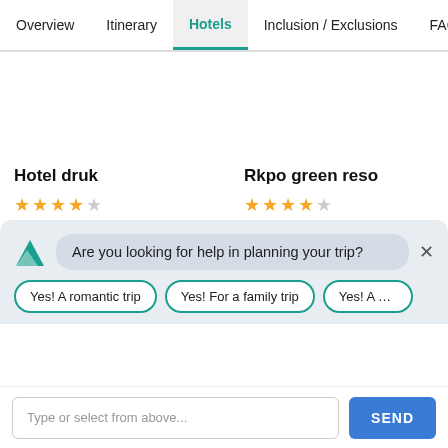Overview  Itinerary  Hotels  Inclusion / Exclusions  FAQ
Hotel druk
★★★★☆
Wogzin Lam, Clock Tower Square, Building no. 14 Thimphu -
Rkpo green reso
★★★★☆
Punakha, Bhutan
Are you looking for help in planning your trip?
Yes! A romantic trip
Yes! For a family trip
Yes! A honey
Type or select from above...
SEND